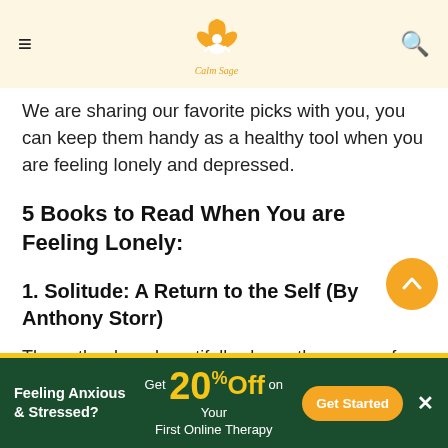Calm Sage
We are sharing our favorite picks with you, you can keep them handy as a healthy tool when you are feeling lonely and depressed.
5 Books to Read When You are Feeling Lonely:
1. Solitude: A Return to the Self (By Anthony Storr)
The author here beautifully shows the power of solitude in reinforcing our creativity by widening our view of self and the world around us. Your vision of feeling lonely is sure to change over
Feeling Anxious & Stressed? Get 20% Off on Your First Online Therapy Get Started